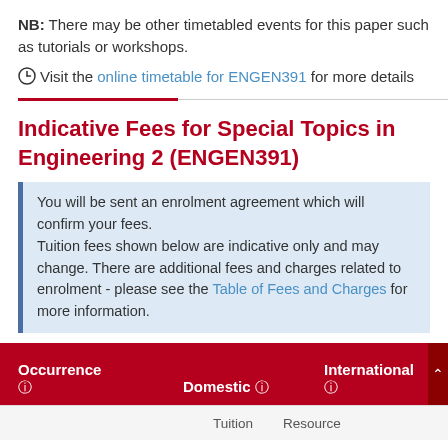NB: There may be other timetabled events for this paper such as tutorials or workshops.
Visit the online timetable for ENGEN391 for more details
Indicative Fees for Special Topics in Engineering 2 (ENGEN391)
You will be sent an enrolment agreement which will confirm your fees. Tuition fees shown below are indicative only and may change. There are additional fees and charges related to enrolment - please see the Table of Fees and Charges for more information.
| Occurrence | Domestic | International |
| --- | --- | --- |
|  | Tuition | Resource |